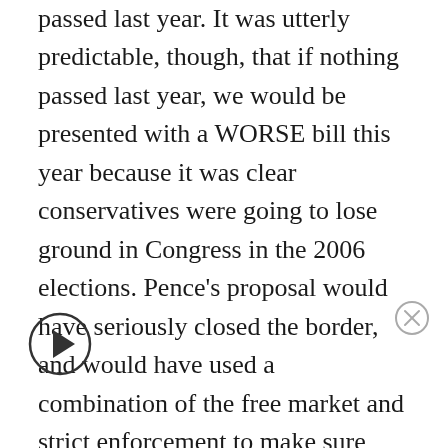passed last year. It was utterly predictable, though, that if nothing passed last year, we would be presented with a WORSE bill this year because it was clear conservatives were going to lose ground in Congress in the 2006 elections. Pence's proposal would have seriously closed the border, and would have used a combination of the free market and strict enforcement to make sure that no illegals could thrive here without first leaving the country and coming back under legal auspices. Most of the ingenious Pence provisions are lacking from this so-called compromise. By not embracing Pence, conservatives condemned the country to a bill concocted by Ted Kennedy. Nice work. Not.